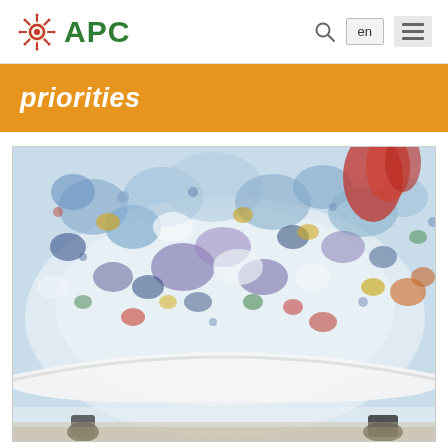APC | priorities
priorities
[Figure (photo): Colorful dome ceiling mural with abstract paint splatters in blue, purple, red, orange, yellow and white tones, viewed from below with people visible at the bottom edge. Appears to be inside a large public or governmental building.]